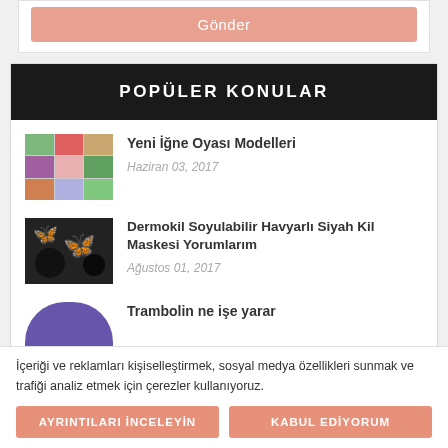Gönder
POPÜLER KONULAR
Yeni İğne Oyası Modelleri
Haziran 03, 2017
Dermokil Soyulabilir Havyarlı Siyah Kil Maskesi Yorumlarım
Ağustos 01, 2017
Trambolin ne işe yarar
İçeriği ve reklamları kişiselleştirmek, sosyal medya özellikleri sunmak ve trafiği analiz etmek için çerezler kullanıyoruz.
AYRINTILARI İNCELEYİN
KABUL EDİYORUM